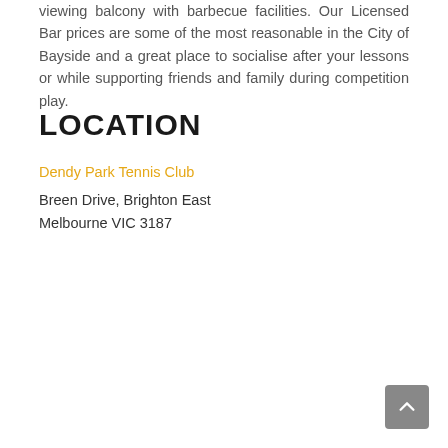viewing balcony with barbecue facilities. Our Licensed Bar prices are some of the most reasonable in the City of Bayside and a great place to socialise after your lessons or while supporting friends and family during competition play.
LOCATION
Dendy Park Tennis Club
Breen Drive, Brighton East
Melbourne VIC 3187